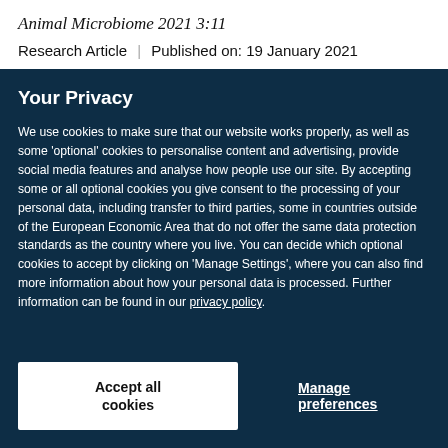Animal Microbiome 2021 3:11
Research Article | Published on: 19 January 2021
Your Privacy
We use cookies to make sure that our website works properly, as well as some ‘optional’ cookies to personalise content and advertising, provide social media features and analyse how people use our site. By accepting some or all optional cookies you give consent to the processing of your personal data, including transfer to third parties, some in countries outside of the European Economic Area that do not offer the same data protection standards as the country where you live. You can decide which optional cookies to accept by clicking on ‘Manage Settings’, where you can also find more information about how your personal data is processed. Further information can be found in our privacy policy.
Accept all cookies
Manage preferences